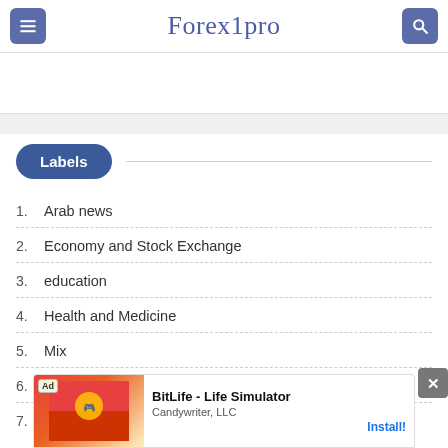Forex1pro
Labels
1.  Arab news
2.  Economy and Stock Exchange
3.  education
4.  Health and Medicine
5.  Mix
6.  Sports
7.  Wor...
[Figure (screenshot): Ad banner for BitLife - Life Simulator by Candywriter, LLC with Install button]